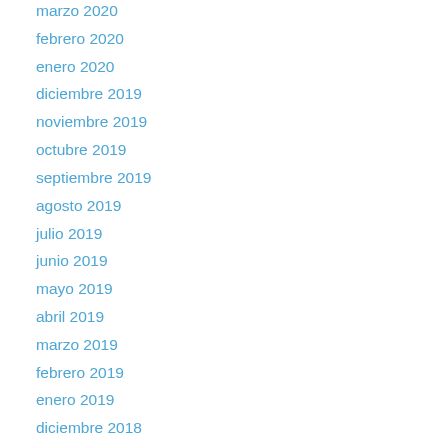marzo 2020
febrero 2020
enero 2020
diciembre 2019
noviembre 2019
octubre 2019
septiembre 2019
agosto 2019
julio 2019
junio 2019
mayo 2019
abril 2019
marzo 2019
febrero 2019
enero 2019
diciembre 2018
noviembre 2018
octubre 2018
septiembre 2018
agosto 2018